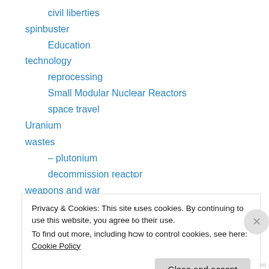civil liberties
spinbuster
Education
technology
reprocessing
Small Modular Nuclear Reactors
space travel
Uranium
wastes
– plutonium
decommission reactor
weapons and war
depleted uranium
Privacy & Cookies: This site uses cookies. By continuing to use this website, you agree to their use.
To find out more, including how to control cookies, see here: Cookie Policy
Close and accept